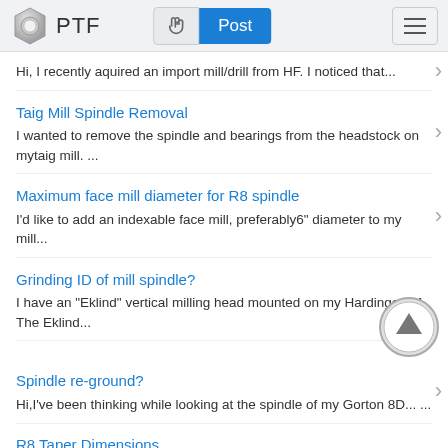PTF | Post
Hi, I recently aquired an import mill/drill from HF. I noticed that...
Taig Mill Spindle Removal
I wanted to remove the spindle and bearings from the headstock on mytaig mill. ...
Maximum face mill diameter for R8 spindle
I'd like to add an indexable face mill, preferably6" diameter to my mill...
Grinding ID of mill spindle?
I have an "Eklind" vertical milling head mounted on my Hardinge TM. The Eklind...
Spindle re-ground?
Hi,I've been thinking while looking at the spindle of my Gorton 8D... ...
R8 Taper Dimensions